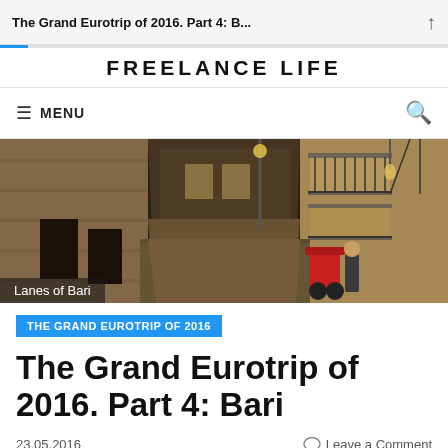The Grand Eurotrip of 2016. Part 4: B...
FREELANCE LIFE
MENU
[Figure (photo): Narrow cobblestone lane in Bari's old town, flanked by tall stone buildings with balconies and iron railings. A red scooter is parked in the lane.]
Lanes of Bari
THE GRAND EUROTRIP OF 2016
The Grand Eurotrip of 2016. Part 4: Bari
23.05.2016
Leave a Comment